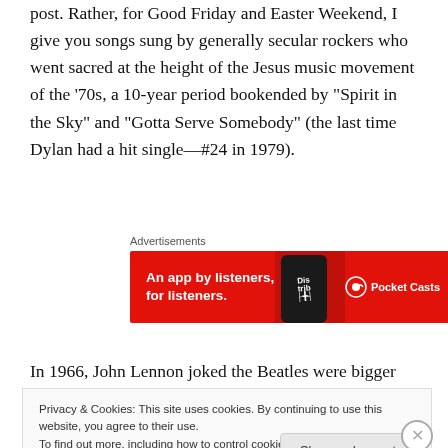post. Rather, for Good Friday and Easter Weekend, I give you songs sung by generally secular rockers who went sacred at the height of the Jesus music movement of the ’70s, a 10-year period bookended by “Spirit in the Sky” and “Gotta Serve Somebody” (the last time Dylan had a hit single—#24 in 1979).
Advertisements
[Figure (other): Pocket Casts advertisement banner: red background with white text 'An app by listeners, for listeners.' and Pocket Casts logo]
In 1966, John Lennon joked the Beatles were bigger than
Privacy & Cookies: This site uses cookies. By continuing to use this website, you agree to their use.
To find out more, including how to control cookies, see here: Cookie Policy